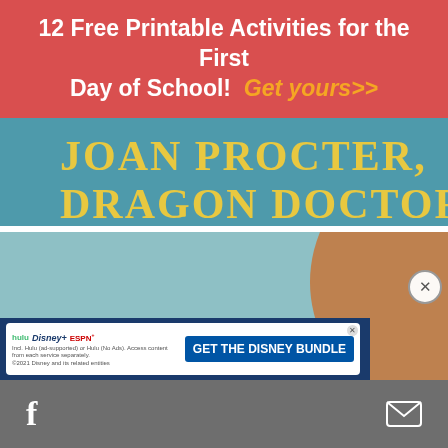12 Free Printable Activities for the First Day of School! Get yours>>
[Figure (photo): Book cover showing text 'JOAN PROCTER, DRAGON DOCTOR' in yellow letters on a teal/blue background]
This site uses cookies to improve your online experience, allow you to share content on social media, measure traffic to this website and display customised ads based on your browsing activity.
Learn More
Accept
[Figure (photo): Lower portion of the Joan Procter Dragon Doctor book cover showing a woman with red hair and pearls]
[Figure (screenshot): Disney Bundle advertisement banner showing Hulu, Disney+, ESPN+ logos with text 'GET THE DISNEY BUNDLE' and fine print about 2021 Disney]
Facebook share icon | Mail icon